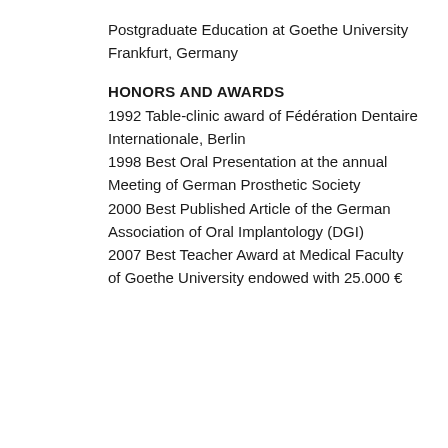Postgraduate Education at Goethe University Frankfurt, Germany
HONORS AND AWARDS
1992 Table-clinic award of Fédération Dentaire Internationale, Berlin
1998 Best Oral Presentation at the annual Meeting of German Prosthetic Society
2000 Best Published Article of the German Association of Oral Implantology (DGI)
2007 Best Teacher Award at Medical Faculty of Goethe University endowed with 25.000 €